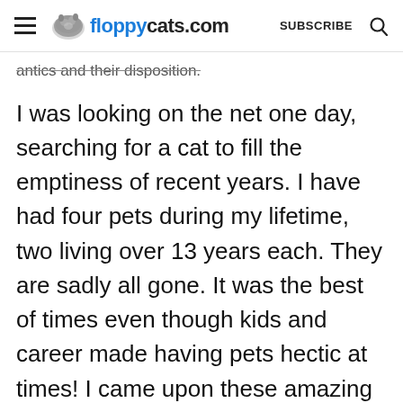floppycats.com  SUBSCRIBE
antics and their disposition.
I was looking on the net one day, searching for a cat to fill the emptiness of recent years. I have had four pets during my lifetime, two living over 13 years each. They are sadly all gone. It was the best of times even though kids and career made having pets hectic at times! I came upon these amazing creatures and instantly loved